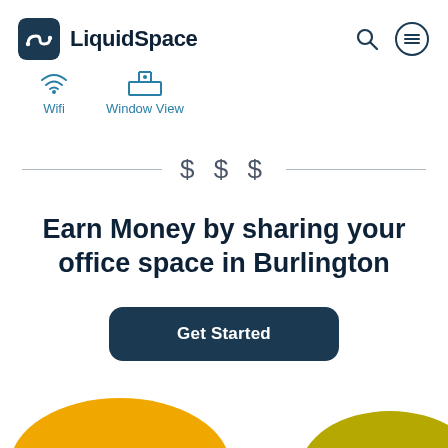LiquidSpace
[Figure (infographic): Wifi and Window View amenity icons with labels in teal/blue color]
$ $ $
Earn Money by sharing your office space in Burlington
Get Started
[Figure (illustration): Decorative yellow/gold rounded hill shapes at bottom corners of page]